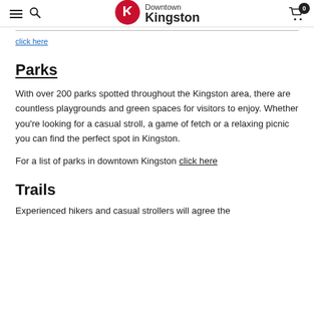Downtown Kingston navigation header with logo, hamburger menu, search, and cart
click here
Parks
With over 200 parks spotted throughout the Kingston area, there are countless playgrounds and green spaces for visitors to enjoy. Whether you're looking for a casual stroll, a game of fetch or a relaxing picnic you can find the perfect spot in Kingston.
For a list of parks in downtown Kingston click here
Trails
Experienced hikers and casual strollers will agree the